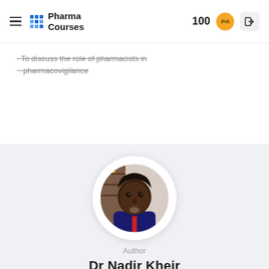Pharma Courses | 100
To discuss the role of pharmacists in pharmacovigilance
Author
Dr Nadir Kheir